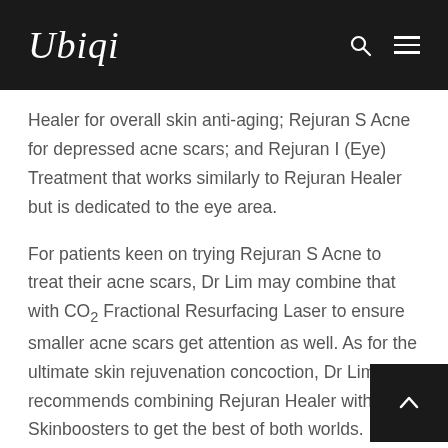Ubiqi
Healer for overall skin anti-aging; Rejuran S Acne for depressed acne scars; and Rejuran I (Eye) Treatment that works similarly to Rejuran Healer but is dedicated to the eye area.
For patients keen on trying Rejuran S Acne to treat their acne scars, Dr Lim may combine that with CO2 Fractional Resurfacing Laser to ensure smaller acne scars get attention as well. As for the ultimate skin rejuvenation concoction, Dr Lim recommends combining Rejuran Healer with Skinboosters to get the best of both worlds.
Here is Dr Lim administering Rejuran Healer: